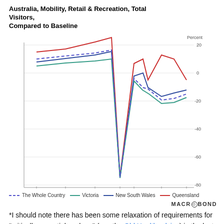Australia, Mobility, Retail & Recreation, Total Visitors, Compared to Baseline
[Figure (line-chart): Australia, Mobility, Retail & Recreation, Total Visitors, Compared to Baseline]
*I should note there has been some relaxation of requirements for "critically essential workers" (see the Qld Health advice) in the last week and a bit.
Please feel free to comment below. Alternatively, you can